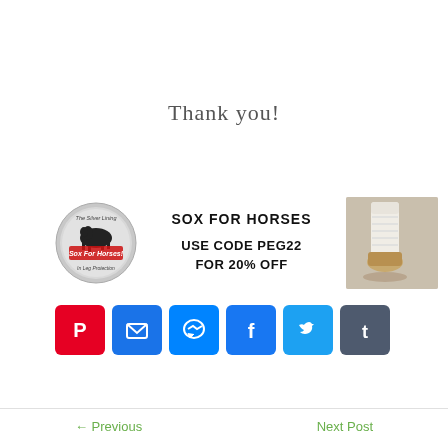Thank you!
[Figure (infographic): Sox For Horses advertisement banner with circular logo on left, bold text 'SOX FOR HORSES / USE CODE PEG22 / FOR 20% OFF' in center, and a photo of a horse leg wearing a white sock on the right]
[Figure (infographic): Row of six social media sharing buttons: Pinterest (red), Email (blue), Messenger (blue), Facebook (blue), Twitter (light blue), Tumblr (dark gray)]
← Previous    Next Post